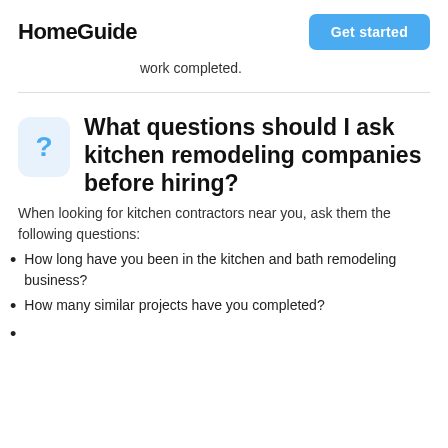HomeGuide | Get started
work completed.
What questions should I ask kitchen remodeling companies before hiring?
When looking for kitchen contractors near you, ask them the following questions:
How long have you been in the kitchen and bath remodeling business?
How many similar projects have you completed?